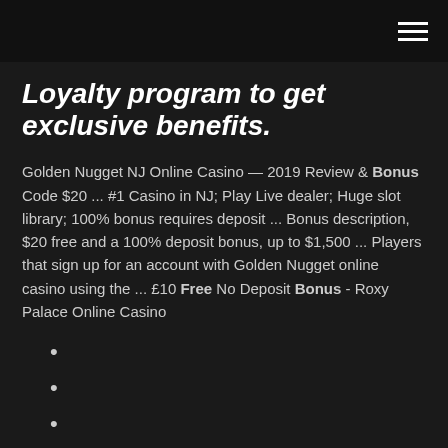[hamburger menu icon]
Loyalty program to get exclusive benefits.
Golden Nugget NJ Online Casino — 2019 Review & Bonus Code $20 ... #1 Casino in NJ; Play Live dealer; Huge slot library; 100% bonus requires deposit ... Bonus description, $20 free and a 100% deposit bonus, up to $1,500 ... Players that sign up for an account with Golden Nugget online casino using the ... £10 Free No Deposit Bonus - Roxy Palace Online Casino